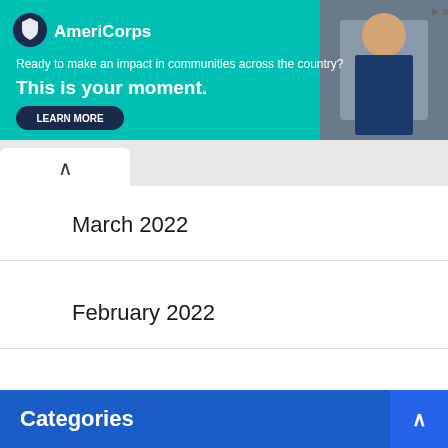[Figure (infographic): AmeriCorps advertisement banner with teal background. Logo with dark circle icon and AmeriCorps text. Tagline: Ready to make an impact in communities across the country? This is your moment. LEARN MORE button. Photo of person on right side.]
March 2022
February 2022
January 2022
November 2021
July 2021
Categories